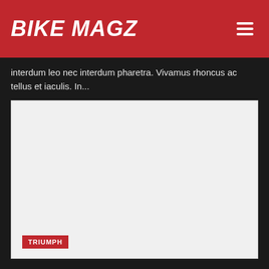BIKE MAGZ
interdum leo nec interdum pharetra. Vivamus rhoncus ac tellus et iaculis. In...
[Figure (photo): Large light grey placeholder image area with a TRIUMPH category badge in the bottom left corner]
TRIUMPH